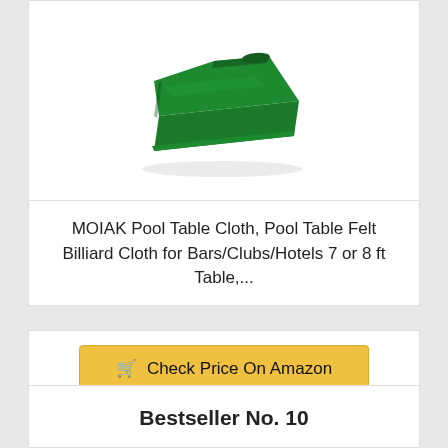[Figure (photo): Folded green pool table felt cloth product image on white/light gray background]
MOIAK Pool Table Cloth, Pool Table Felt Billiard Cloth for Bars/Clubs/Hotels 7 or 8 ft Table,...
Check Price On Amazon
Bestseller No. 10
[Figure (photo): Pool table felt product shown in multiple colors: blue, teal/green, and black swatches]